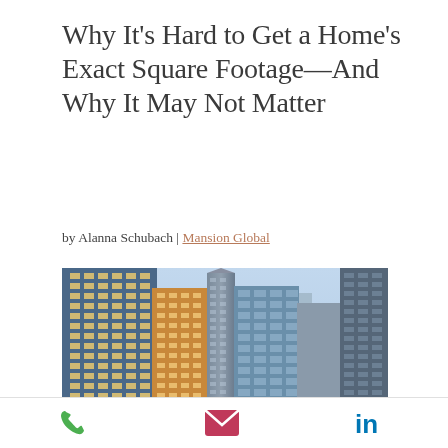Why It's Hard to Get a Home's Exact Square Footage—And Why It May Not Matter
by Alanna Schubach | Mansion Global
[Figure (photo): Aerial view of New York City skyscrapers and buildings with blue sky, showing dense urban architecture including glass curtain-wall towers and historic buildings.]
Phone | Email | LinkedIn